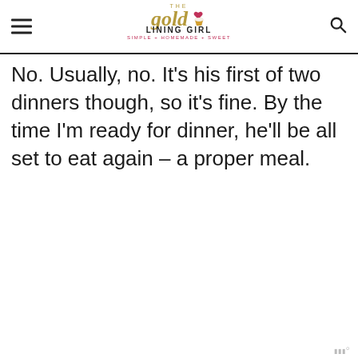THE GOLD LINING GIRL — SIMPLE + HOMEMADE + SWEET
No. Usually, no. It's his first of two dinners though, so it's fine. By the time I'm ready for dinner, he'll be all set to eat again – a proper meal.